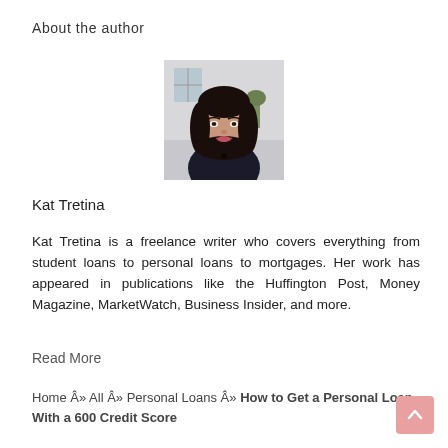About the author
[Figure (photo): Headshot of Kat Tretina, a woman with long dark hair, smiling, wearing a dark top, indoor background.]
Kat Tretina
Kat Tretina is a freelance writer who covers everything from student loans to personal loans to mortgages. Her work has appeared in publications like the Huffington Post, Money Magazine, MarketWatch, Business Insider, and more.
Read More
Home Â» All Â» Personal Loans Â» How to Get a Personal Loan With a 600 Credit Score